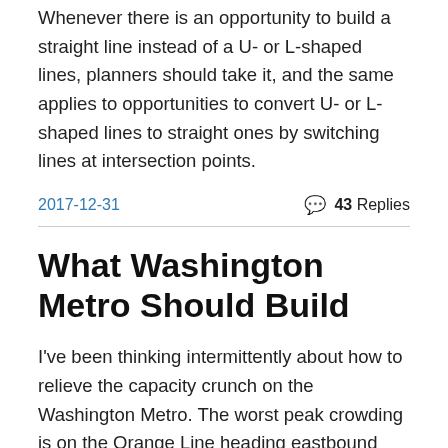Whenever there is an opportunity to build a straight line instead of a U- or L-shaped lines, planners should take it, and the same applies to opportunities to convert U- or L-shaped lines to straight ones by switching lines at intersection points.
2017-12-31    💬 43 Replies
What Washington Metro Should Build
I've been thinking intermittently about how to relieve the capacity crunch on the Washington Metro. The worst peak crowding is on the Orange Line heading eastbound from Arlington to Downtown Washington, and this led to